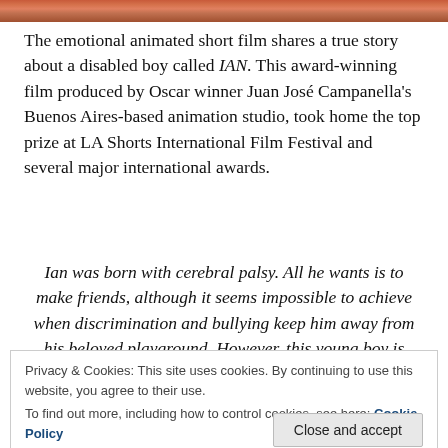[Figure (photo): Top image strip showing a colorful scene from the animated film IAN]
The emotional animated short film shares a true story about a disabled boy called IAN. This award-winning film produced by Oscar winner Juan José Campanella's Buenos Aires-based animation studio, took home the top prize at LA Shorts International Film Festival and several major international awards.
Ian was born with cerebral palsy. All he wants is to make friends, although it seems impossible to achieve when discrimination and bullying keep him away from his beloved playground. However, this young boy is determined
Privacy & Cookies: This site uses cookies. By continuing to use this website, you agree to their use.
To find out more, including how to control cookies, see here: Cookie Policy
his rehabilitation center by children from a nearby